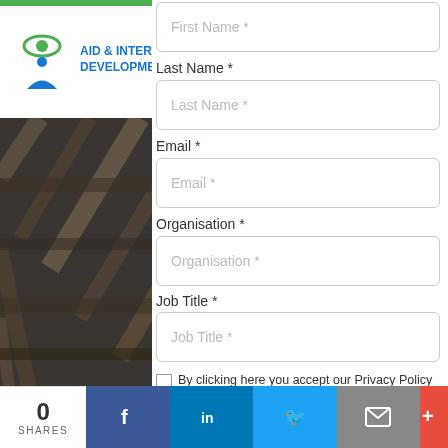[Figure (logo): Aid & International Development Forum logo with eye/person icon in green and blue]
[Figure (photo): Dark grayscale photograph of wooden sticks or timber bundles]
•
Funding cuts thr
26 Jul 2018
Despite significant United Nations ag
Last Name *
Last Name *
Email *
Email *
Organisation *
Organisation *
Job Title *
Job Title *
By clicking here you accept our Privacy Policy and agree to receiving our newsletter
By clicking submit you are consenting to our privacy policy and terms of use.
0 SHARES
[Figure (infographic): Social share bar with Facebook, LinkedIn, Twitter, Email, and More buttons]